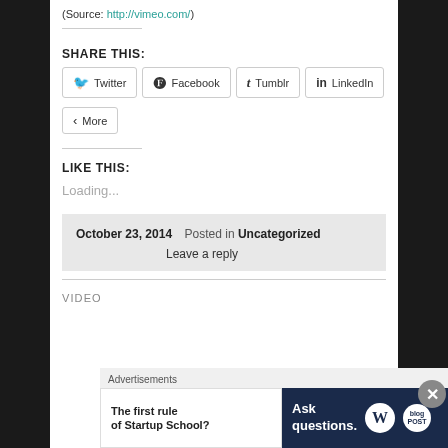(Source: http://vimeo.com/)
SHARE THIS:
Twitter  Facebook  Tumblr  LinkedIn  More
LIKE THIS:
Loading...
October 23, 2014  Posted in Uncategorized  Leave a reply
VIDEO
Advertisements  The first rule of Startup School?  Ask questions.